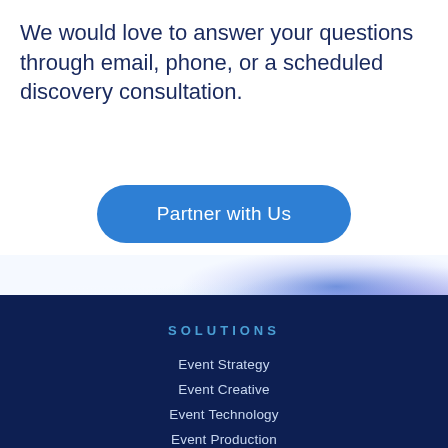We would love to answer your questions through email, phone, or a scheduled discovery consultation.
[Figure (other): Blue rounded button labeled 'Partner with Us']
[Figure (illustration): Abstract blurred blue and purple light gradient image forming a decorative wave/glow effect]
SOLUTIONS
Event Strategy
Event Creative
Event Technology
Event Production